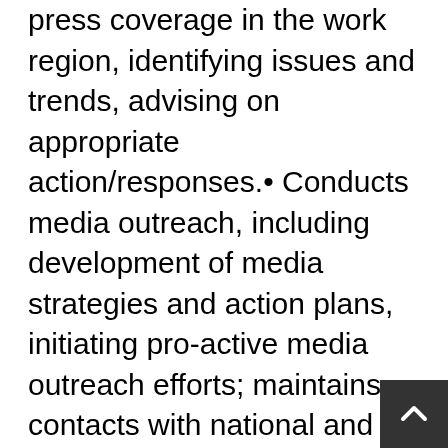press coverage in the work region, identifying issues and trends, advising on appropriate action/responses.• Conducts media outreach, including development of media strategies and action plans, initiating pro-active media outreach efforts; maintains contacts with national and regional media in Egypt, disseminates information materials to the media, places op-eds and arranges interviews, organizes press conferences and briefings, monitors press coverage of UN issues; consults with press on approach/story angle and other information requests, undertakes appropriate follow-up action and analyses and reports on the impact of coverage.• Initiates and sustains proactive professional relationships with key constituencies and partners at the national and regional level and undertakes joint strategic activities with them; plans and facilitates dialogues with partners to improve public engagement and participatory approaches to increase understanding about the UN's work in Egypt.• Conducts educational outreach activities, including the engagement with Model United Nations conferences and organizing public-speaking opportunities at local educational